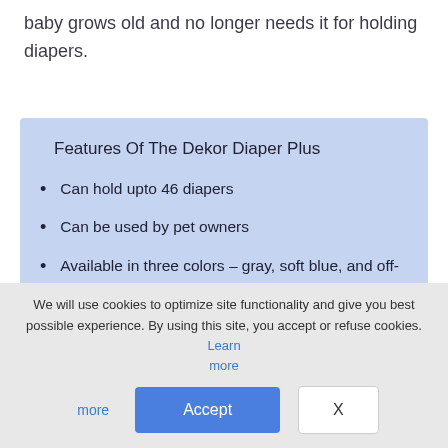baby grows old and no longer needs it for holding diapers.
Features Of The Dekor Diaper Plus
Can hold upto 46 diapers
Can be used by pet owners
Available in three colors – gray, soft blue, and off-white
Refill liners are sold separately
We will use cookies to optimize site functionality and give you best possible experience. By using this site, you accept or refuse cookies. Learn more